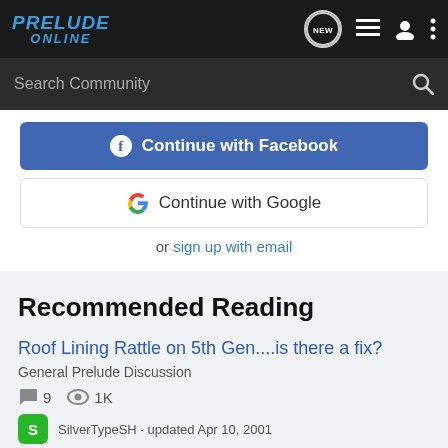PRELUDE ONLINE
Search Community
Continue with Facebook
Continue with Google
or sign up with email
Recommended Reading
Roof Lining Rattle on 5th Gen....is there a fix?
General Prelude Discussion
9  1K
SilverTypeSH · updated Apr 10, 2001